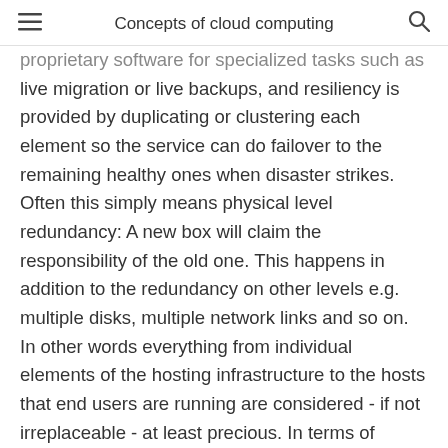Concepts of cloud computing
proprietary software for specialized tasks such as live migration or live backups, and resiliency is provided by duplicating or clustering each element so the service can do failover to the remaining healthy ones when disaster strikes. Often this simply means physical level redundancy: A new box will claim the responsibility of the old one. This happens in addition to the redundancy on other levels e.g. multiple disks, multiple network links and so on. In other words everything from individual elements of the hosting infrastructure to the hosts that end users are running are considered - if not irreplaceable - at least precious. In terms of scaling the end user application or service, growth in utilization is typically projected for longer periods of